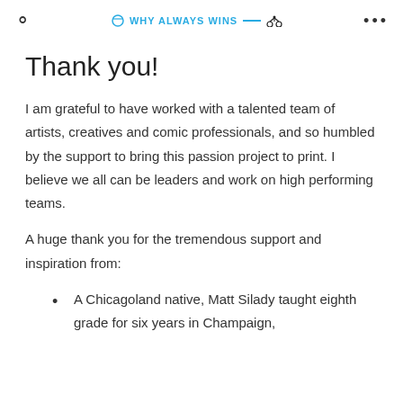WHY ALWAYS WINS
Thank you!
I am grateful to have worked with a talented team of artists, creatives and comic professionals, and so humbled by the support to bring this passion project to print. I believe we all can be leaders and work on high performing teams.
A huge thank you for the tremendous support and inspiration from:
A Chicagoland native, Matt Silady taught eighth grade for six years in Champaign,